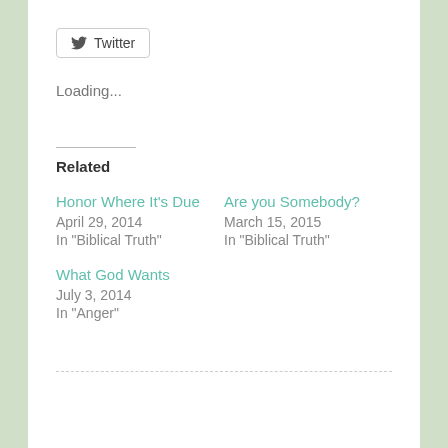[Figure (other): Twitter share button with bird icon and 'Twitter' label]
Loading...
Related
Honor Where It's Due
April 29, 2014
In "Biblical Truth"
Are you Somebody?
March 15, 2015
In "Biblical Truth"
What God Wants
July 3, 2014
In "Anger"